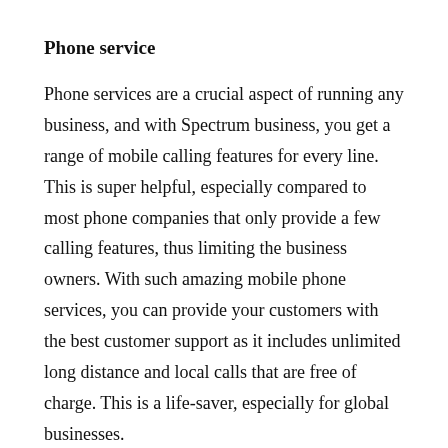Phone service
Phone services are a crucial aspect of running any business, and with Spectrum business, you get a range of mobile calling features for every line. This is super helpful, especially compared to most phone companies that only provide a few calling features, thus limiting the business owners. With such amazing mobile phone services, you can provide your customers with the best customer support as it includes unlimited long distance and local calls that are free of charge. This is a life-saver, especially for global businesses.
Television services